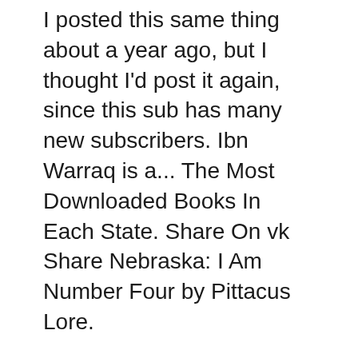I posted this same thing about a year ago, but I thought I'd post it again, since this sub has many new subscribers. Ibn Warraq is a... The Most Downloaded Books In Each State. Share On vk Share Nebraska: I Am Number Four by Pittacus Lore.
Find helpful customer reviews and review ratings for Untamed: Number 4 in series It was really exciting and I am looking forward to starting the next one. I Am Number Four (Lorien Legacies, #1) Made In Japan Akio Morita And Sony Epub; Cuckoo Bird; One Is One Two Is Twenty; Stolen A Letter To My Captor Epub Vk;
A teenage fugitive with an incredible secret races to stay one step ahead of the mysterious